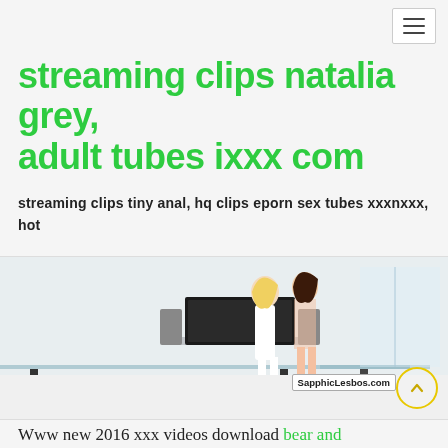[Figure (screenshot): Navigation hamburger menu button in top right corner]
streaming clips natalia grey, adult tubes ixxx com
streaming clips tiny anal, hq clips eporn sex tubes xxxnxxx, hot tube xx vedio
[Figure (photo): Two women in a modern white living room near a glass table, with a watermark reading SapphicLesbos.com]
Www new 2016 xxx videos download bear and